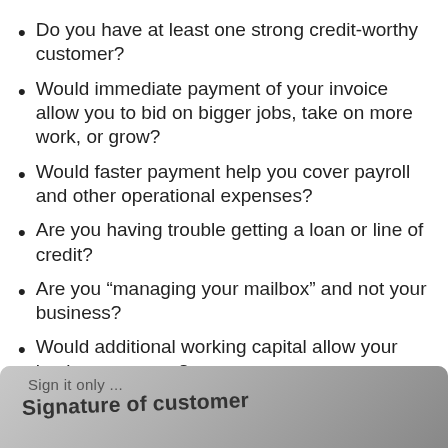Do you have at least one strong credit-worthy customer?
Would immediate payment of your invoice allow you to bid on bigger jobs, take on more work, or grow?
Would faster payment help you cover payroll and other operational expenses?
Are you having trouble getting a loan or line of credit?
Are you “managing your mailbox” and not your business?
Would additional working capital allow your business to grow?
[Figure (photo): Close-up photo of a document form showing text 'Sign it only...' and 'Signature of customer' with a blurred background]